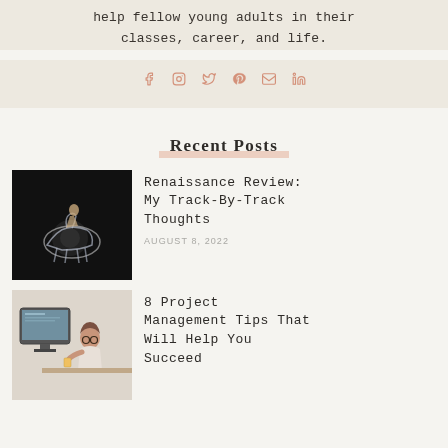help fellow young adults in their classes, career, and life.
[Figure (infographic): Social media icons: Facebook, Instagram, Twitter, Pinterest, Email, LinkedIn in salmon/coral color]
Recent Posts
[Figure (photo): Person on a glowing horse against black background - Renaissance album art]
Renaissance Review: My Track-By-Track Thoughts
AUGUST 8, 2022
[Figure (photo): Person sitting at desk in front of computer monitors]
8 Project Management Tips That Will Help You Succeed